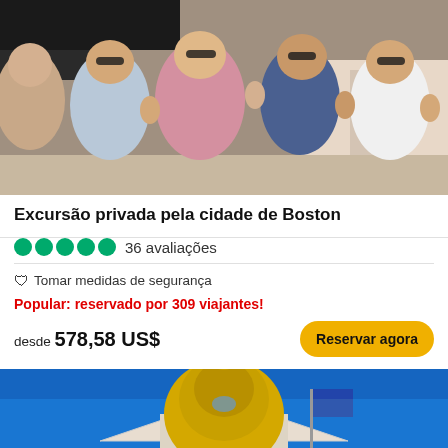[Figure (photo): Group photo of several women smiling and giving thumbs up outdoors in Boston, selfie style]
Excursão privada pela cidade de Boston
●●●●● 36 avaliações
🛡 Tomar medidas de segurança
Popular: reservado por 309 viajantes!
desde 578,58 US$
Reservar agora
[Figure (photo): Massachusetts State House with golden dome and blue sky, American and state flags visible]